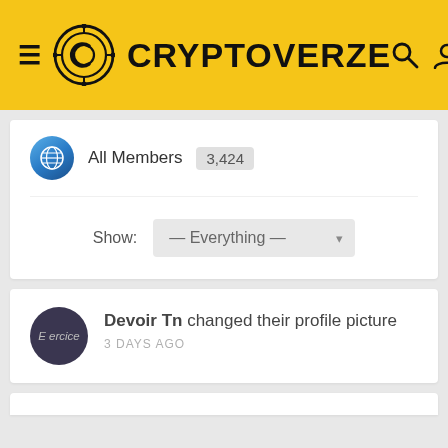CRYPTOVERZE
All Members 3,424
Show: — Everything —
Devoir Tn changed their profile picture
3 DAYS AGO